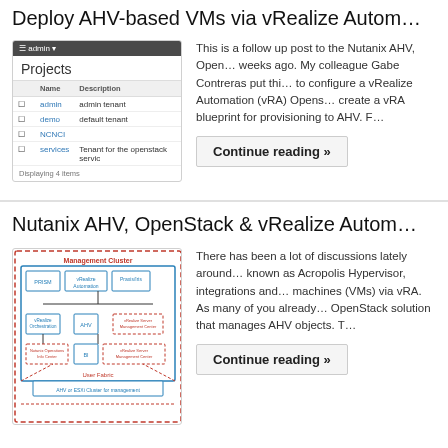Deploy AHV-based VMs via vRealize Autom…
[Figure (screenshot): Screenshot of Projects admin interface showing a table with Name and Description columns, with entries: admin (admin tenant), demo (default tenant), NCNCI, services (Tenant for the openstack servic). Displaying 4 items.]
This is a follow up post to the Nutanix AHV, Open… weeks ago. My colleague Gabe Contreras put thi… to configure a vRealize Automation (vRA) Opens… create a vRA blueprint for provisioning to AHV. F…
Continue reading »
Nutanix AHV, OpenStack & vRealize Autom…
[Figure (engineering-diagram): Architecture diagram showing Management Cluster with components: PRISM, vRealize Automation, Praxis/Iris, vRealize Orchestration, AHV, vRealize Server Management Center, Nutanix Operations Info Center, BI, vRealize Server Management Center. Below shows User Fabric with AHV or ESXi Cluster for management. Components connected with lines showing relationships.]
There has been a lot of discussions lately around… known as Acropolis Hypervisor, integrations and… machines (VMs) via vRA. As many of you already… OpenStack solution that manages AHV objects. T…
Continue reading »